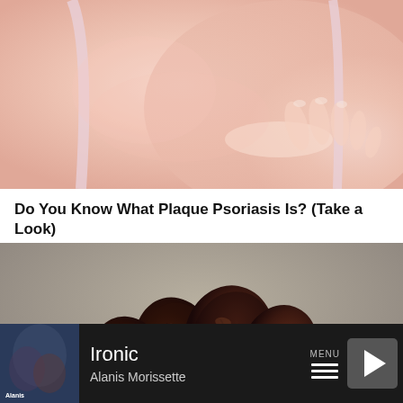[Figure (photo): Close-up photo of a person's shoulder/back area showing skin, with a hand touching it, suggesting a skin condition examination]
Do You Know What Plaque Psoriasis Is? (Take a Look)
[Figure (photo): Photo of hands cupping several large, dark brown Medjool dates]
One Bite of This May Keep Blood Sugar Below 100 (Try This Tonight)
[Figure (screenshot): Bottom strip showing partial images of additional articles]
Ironic | Alanis Morissette | MENU (play button controls)